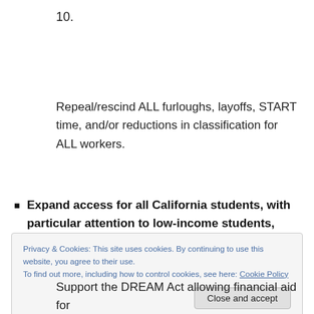10.
Repeal/rescind ALL furloughs, layoffs, START time, and/or reductions in classification for ALL workers.
Expand access for all California students, with particular attention to low-income students,
Privacy & Cookies: This site uses cookies. By continuing to use this website, you agree to their use.
To find out more, including how to control cookies, see here: Cookie Policy
Support the DREAM Act allowing financial aid for